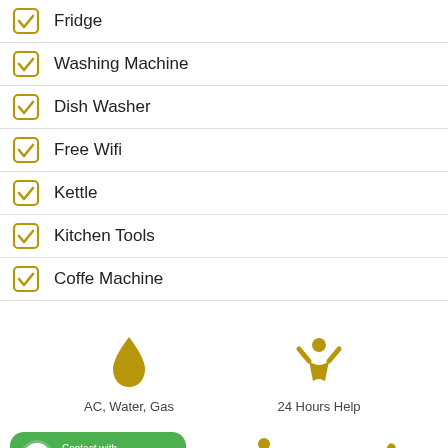Fridge
Washing Machine
Dish Washer
Free Wifi
Kettle
Kitchen Tools
Coffe Machine
[Figure (infographic): Golden water drop icon labeled AC, Water, Gas and golden person with raised arms icon labeled 24 Hours Help]
[Figure (infographic): Green WhatsApp contact button, golden swimming person icon, golden broom icon at bottom of page]